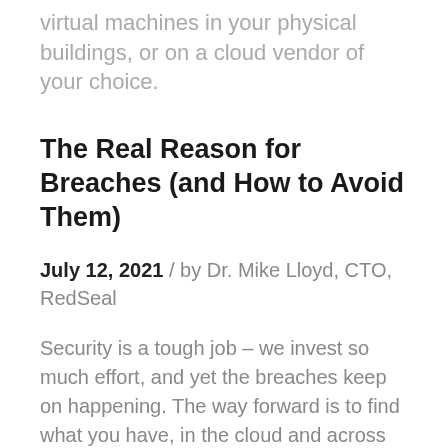virtual machines in your physical buildings, or on a cloud vendor of your choice.
The Real Reason for Breaches (and How to Avoid Them)
July 12, 2021 / by Dr. Mike Lloyd, CTO, RedSeal
Security is a tough job – we invest so much effort, and yet the breaches keep on happening. The way forward is to find what you have, in the cloud and across your physical sites, see how it's all connected, and understand...